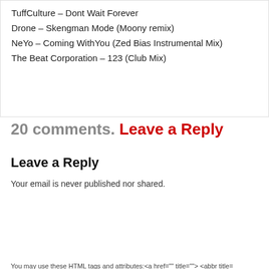TuffCulture – Dont Wait Forever
Drone – Skengman Mode (Moony remix)
NeYo – Coming WithYou (Zed Bias Instrumental Mix)
The Beat Corporation – 123 (Club Mix)
20 comments. Leave a Reply
Leave a Reply
Your email is never published nor shared.
You may use these HTML tags and attributes:<a href="" title=""> <abbr title= cite=""> <cite> <code> <del datetime=""> <em> <i> <q cite=""> <s> <strike> <
Name (Required)
Email (Required)